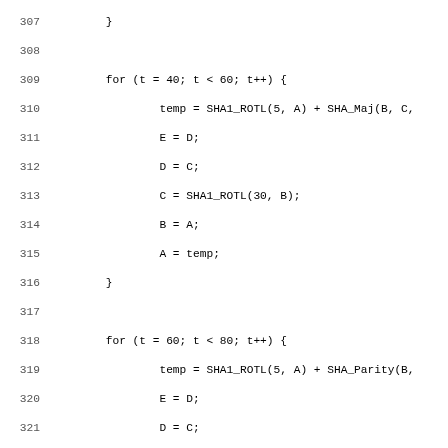Source code listing lines 307-339 showing SHA1 hash computation loop iterations for t=40-60 and t=60-80 ranges, context Intermediate_Hash updates, Message_Block_Index reset, and start of helper function comment block.